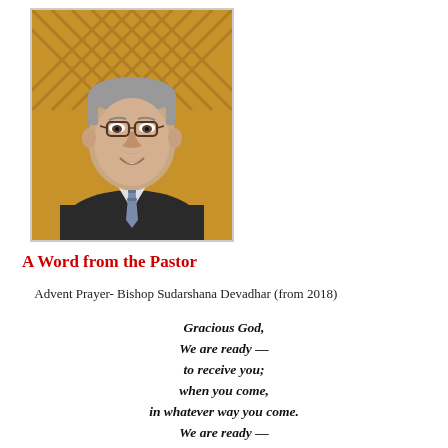[Figure (photo): Portrait photo of a smiling middle-aged man with glasses, gray hair, mustache, wearing a dark suit jacket and patterned tie, standing in front of a wooden lattice background.]
A Word from the Pastor
Advent Prayer- Bishop Sudarshana Devadhar (from 2018)
Gracious God,
We are ready —
to receive you;
when you come,
in whatever way you come.
We are ready —
to be your angels, your messengers, your bearers of glad tidings.
We are ready, God, to be —